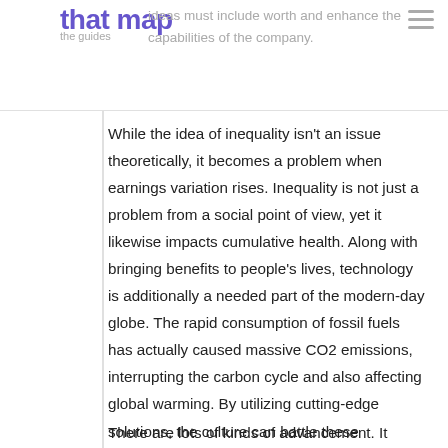that map ideas must include worth and enhance the capabilities of the company. the guides
While the idea of inequality isn't an issue theoretically, it becomes a problem when earnings variation rises. Inequality is not just a problem from a social point of view, yet it likewise impacts cumulative health. Along with bringing benefits to people's lives, technology is additionally a needed part of the modern-day globe. The rapid consumption of fossil fuels has actually caused massive CO2 emissions, interrupting the carbon cycle and also affecting global warming. By utilizing cutting-edge solutions, the culture can battle these problems.
There are lots of kinds of advancement. It